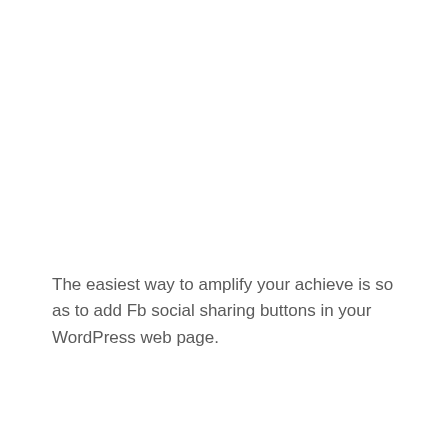The easiest way to amplify your achieve is so as to add Fb social sharing buttons in your WordPress web page.